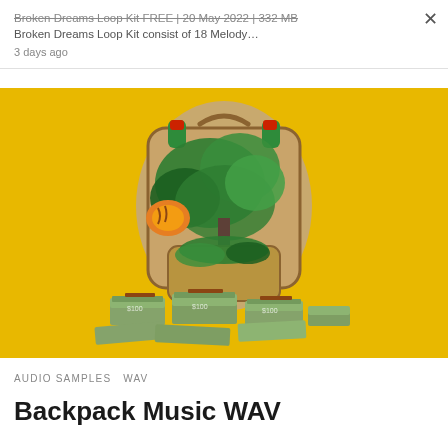Broken Dreams Loop Kit FREE | 20 May 2022 | 332 MB
Broken Dreams Loop Kit consist of 18 Melody…
3 days ago
[Figure (illustration): A decorative Gucci-style backpack with green floral/tree designs and tiger prints on a bright yellow background, with stacks of bundled dollar bills spilling out from the front pocket.]
AUDIO SAMPLES  WAV
Backpack Music WAV